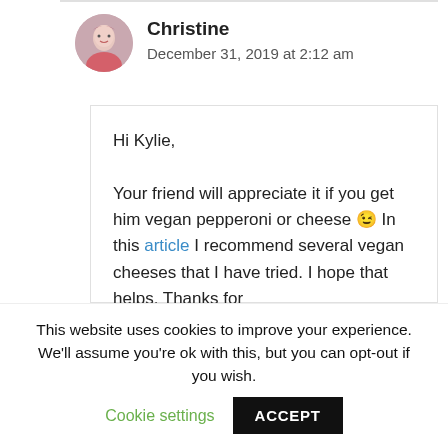Christine
December 31, 2019 at 2:12 am
Hi Kylie,

Your friend will appreciate it if you get him vegan pepperoni or cheese 😉 In this article I recommend several vegan cheeses that I have tried. I hope that helps. Thanks for
This website uses cookies to improve your experience. We'll assume you're ok with this, but you can opt-out if you wish.  Cookie settings  ACCEPT